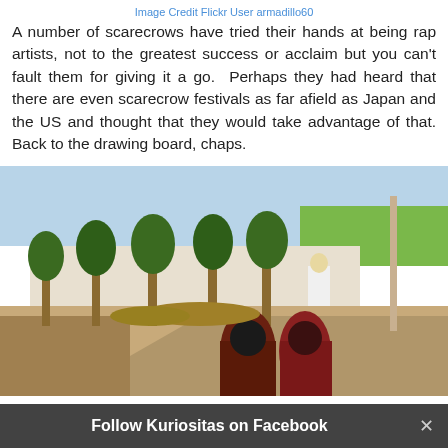Image Credit Flickr User armadillo60
A number of scarecrows have tried their hands at being rap artists, not to the greatest success or acclaim but you can't fault them for giving it a go.  Perhaps they had heard that there are even scarecrow festivals as far afield as Japan and the US and thought that they would take advantage of that. Back to the drawing board, chaps.
[Figure (photo): Outdoor scene showing a road lined with trees and a white wall. In the background is a scarecrow figure in white. Two women in dark robes and headscarves walk along the road.]
Follow Kuriositas on Facebook